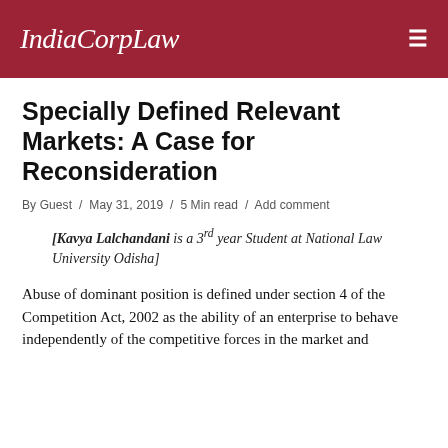IndiaCorpLaw
Specially Defined Relevant Markets: A Case for Reconsideration
By Guest / May 31, 2019 / 5 Min read / Add comment
[Kavya Lalchandani is a 3rd year Student at National Law University Odisha]
Abuse of dominant position is defined under section 4 of the Competition Act, 2002 as the ability of an enterprise to behave independently of the competitive forces in the market and